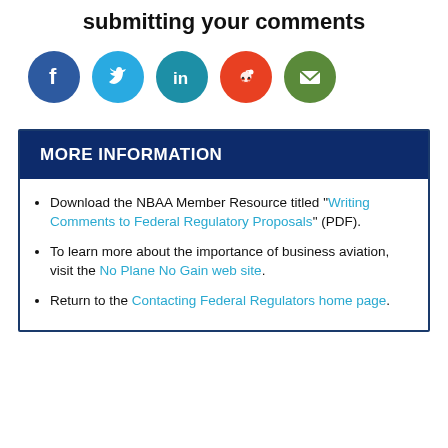submitting your comments
[Figure (illustration): Social media share icons: Facebook (dark blue circle with f), Twitter (light blue circle with bird), LinkedIn (teal circle with in), Reddit (red circle with alien mascot), Email (green circle with envelope)]
MORE INFORMATION
Download the NBAA Member Resource titled "Writing Comments to Federal Regulatory Proposals" (PDF).
To learn more about the importance of business aviation, visit the No Plane No Gain web site.
Return to the Contacting Federal Regulators home page.